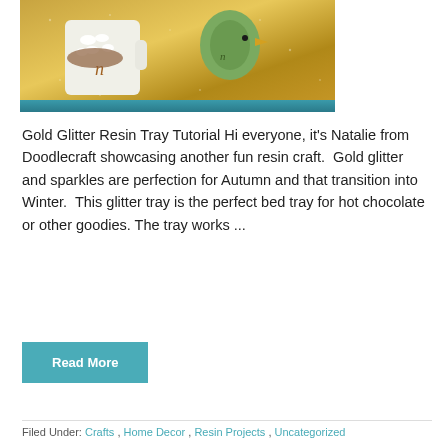[Figure (photo): A gold glitter resin tray holding a white mug with hot chocolate and marshmallows, and a green bird-shaped mug, on a teal/blue wooden surface.]
Gold Glitter Resin Tray Tutorial Hi everyone, it's Natalie from Doodlecraft showcasing another fun resin craft.  Gold glitter and sparkles are perfection for Autumn and that transition into Winter.  This glitter tray is the perfect bed tray for hot chocolate or other goodies. The tray works ...
Read More
Filed Under: Crafts , Home Decor , Resin Projects , Uncategorized